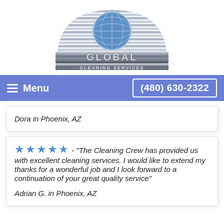[Figure (logo): Global Cleaning Services logo with globe and horizontal stripes, metallic GLOBAL CLEANING SERVICES text]
Menu   (480) 630-2322
Dora in Phoenix, AZ
★★★★★ - "The Cleaning Crew has provided us with excellent cleaning services. I would like to extend my thanks for a wonderful job and I look forward to a continuation of your great quality service"
Adrian G. in Phoenix, AZ